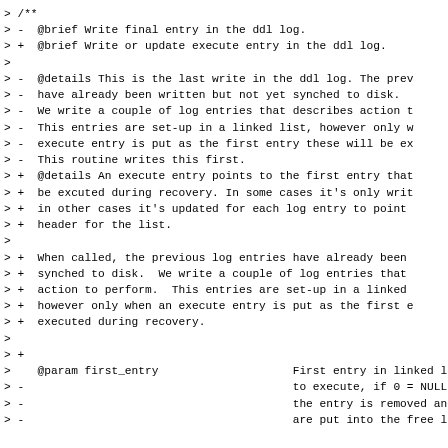> /**
> -  @brief Write final entry in the ddl log.
> +  @brief Write or update execute entry in the ddl log.
>
> -  @details This is the last write in the ddl log. The prev
> -  have already been written but not yet synched to disk.
> -  We write a couple of log entries that describes action t
> -  This entries are set-up in a linked list, however only w
> -  execute entry is put as the first entry these will be ex
> -  This routine writes this first.
> +  @details An execute entry points to the first entry that
> +  be excuted during recovery. In some cases it's only writ
> +  in other cases it's updated for each log entry to point
> +  header for the list.
>
> +  When called, the previous log entries have already been
> +  synched to disk.  We write a couple of log entries that
> +  action to perform.  This entries are set-up in a linked
> +  however only when an execute entry is put as the first e
> +  executed during recovery.
>
> +
>    @param first_entry                    First entry in linked l
> -                                        to execute, if 0 = NULL
> -                                        the entry is removed an
> -                                        are put into the free l